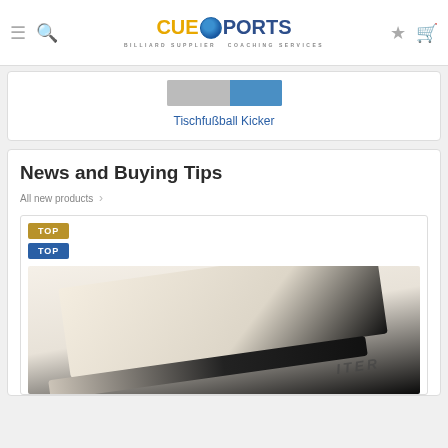CUESPORTS — BILLIARD SUPPLIER COACHING SERVICES
[Figure (screenshot): Product card showing Tischfußball Kicker with a small product image thumbnail]
Tischfußball Kicker
News and Buying Tips
All new products >
[Figure (photo): Close-up photo of a cue stick on a light fabric background, with text on the cue partially visible]